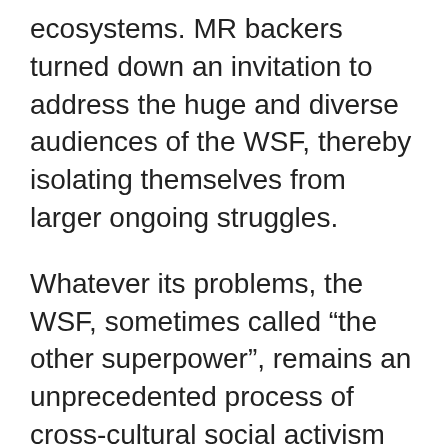ecosystems. MR backers turned down an invitation to address the huge and diverse audiences of the WSF, thereby isolating themselves from larger ongoing struggles.
Whatever its problems, the WSF, sometimes called “the other superpower”, remains an unprecedented process of cross-cultural social activism and international movement building. Overcoming obstacles and networking networks, it keeps advancing in its call for “another possible world” of justice, eq[uality, and] peace.